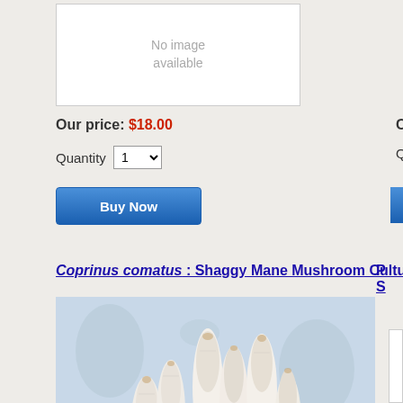[Figure (other): No image available placeholder box]
Our price: $18.00
Quantity 1
[Figure (other): Buy Now button]
Coprinus comatus : Shaggy Mane Mushroom Culture Syringe
[Figure (photo): Photograph of Coprinus comatus (Shaggy Mane mushrooms) growing from a container, white elongated mushrooms with shaggy caps clustered together on dark soil, against a light blue background with rounded spot shapes]